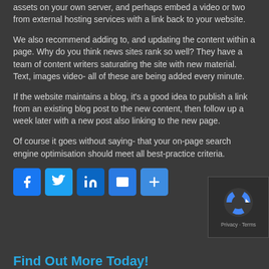assets on your own server, and perhaps embed a video or two from external hosting services with a link back to your website.
We also recommend adding to, and updating the content within a page. Why do you think news sites rank so well? They have a team of content writers saturating the site with new material. Text, images video- all of these are being added every minute.
If the website maintains a blog, it's a good idea to publish a link from an existing blog post to the new content, then follow up a week later with a new post also linking to the new page.
Of course it goes without saying- that your on-page search engine optimisation should meet all best-practice criteria.
[Figure (infographic): Social media share buttons: Facebook, Twitter, LinkedIn, Email, More (+)]
[Figure (logo): reCAPTCHA logo with Privacy and Terms text]
Find Out More Today!